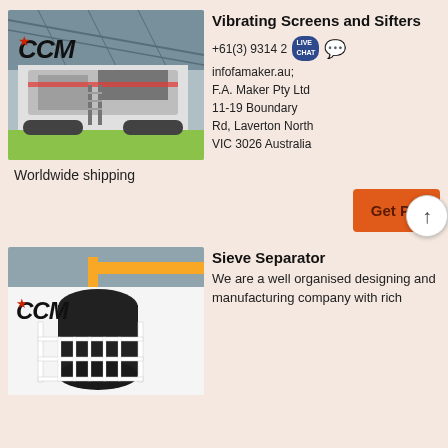[Figure (photo): Industrial mobile screening/crushing machine (CCM branded) inside a large warehouse/factory building with steel roof structure.]
Vibrating Screens and Sifters
+61(3) 9314 2...; infofamaker.au; F.A. Maker Pty Ltd 11-19 Boundary Rd, Laverton North VIC 3026 Australia
Worldwide shipping
Get P...
[Figure (photo): Industrial sieve separator machine (CCM branded) inside a factory/warehouse with yellow overhead crane visible.]
Sieve Separator
We are a well organised designing and manufacturing company with rich